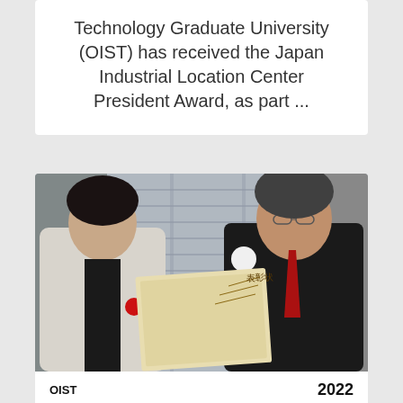Technology Graduate University (OIST) has received the Japan Industrial Location Center President Award, as part ...
[Figure (photo): Two people holding a Japanese award certificate. Left: a woman in light colored jacket. Right: an older man in dark suit with red tie and white flower corsage. Both have red ribbon decorations.]
OIST　　　　　　　　　　　　2022